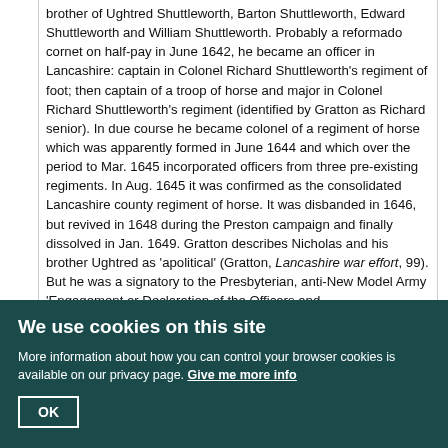brother of Ughtred Shuttleworth, Barton Shuttleworth, Edward Shuttleworth and William Shuttleworth. Probably a reformado cornet on half-pay in June 1642, he became an officer in Lancashire: captain in Colonel Richard Shuttleworth's regiment of foot; then captain of a troop of horse and major in Colonel Richard Shuttleworth's regiment (identified by Gratton as Richard senior). In due course he became colonel of a regiment of horse which was apparently formed in June 1644 and which over the period to Mar. 1645 incorporated officers from three pre-existing regiments. In Aug. 1645 it was confirmed as the consolidated Lancashire county regiment of horse. It was disbanded in 1646, but revived in 1648 during the Preston campaign and finally dissolved in Jan. 1649. Gratton describes Nicholas and his brother Ughtred as 'apolitical' (Gratton, Lancashire war effort, 99). But he was a signatory to the Presbyterian, anti-New Model Army 'Engagement or Declaration of the Officers and
We use cookies on this site
More information about how you can control your browser cookies is available on our privacy page. Give me more info
OK